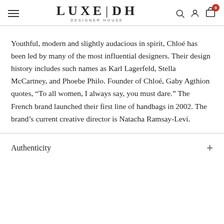LUXE | DH DESIGNER HOUSE
Youthful, modern and slightly audacious in spirit, Chloé has been led by many of the most influential designers. Their design history includes such names as Karl Lagerfeld, Stella McCartney, and Phoebe Philo. Founder of Chloé, Gaby Agthion quotes, “To all women, I always say, you must dare.” The French brand launched their first line of handbags in 2002. The brand’s current creative director is Natacha Ramsay-Levi.
Authenticity